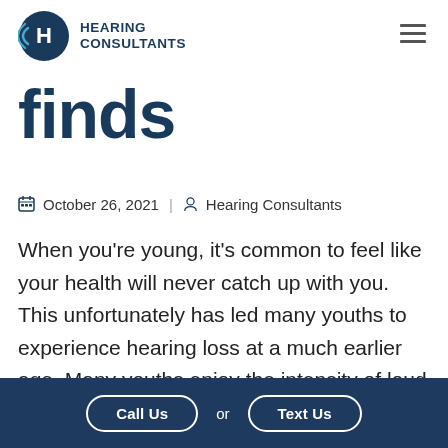Hearing Consultants
finds
October 26, 2021 | Hearing Consultants
When you're young, it's common to feel like your health will never catch up with you. This unfortunately has led many youths to experience hearing loss at a much earlier age. Many youths enjoy the intensity of loud music on the stereo, to dance to 4 am at a loud club right next to the speaker or even just
Call Us or Text Us